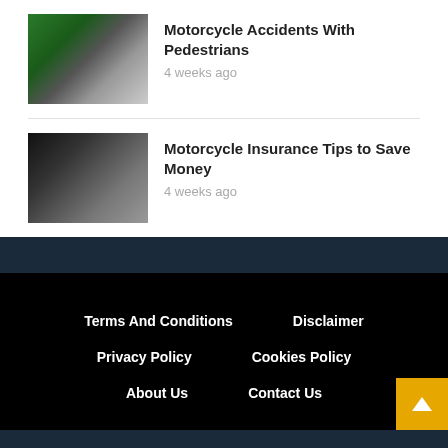[Figure (photo): Motorcycle riding on a road with green trees in background]
Motorcycle Accidents With Pedestrians
4 weeks ago
[Figure (photo): Close-up of a motorcycle crash or damaged motorcycle parts on road]
Motorcycle Insurance Tips to Save Money
4 weeks ago
Terms And Conditions  Disclaimer  Privacy Policy  Cookies Policy  About Us  Contact Us